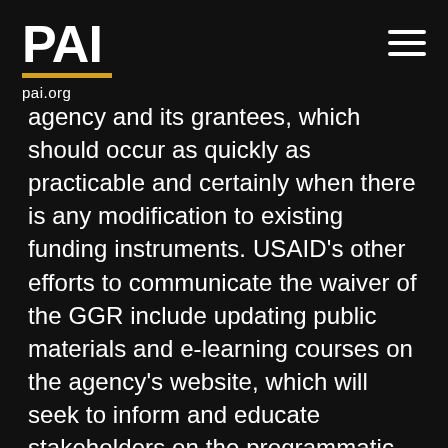PAI pai.org
agency and its grantees, which should occur as quickly as practicable and certainly when there is any modification to existing funding instruments. USAID's other efforts to communicate the waiver of the GGR include updating public materials and e-learning courses on the agency's website, which will seek to inform and educate stakeholders on the programmatic activities that are now permissible, including what statutory restrictions remain in effect. The other departments and agencies that have been implementing the GGR policy over the past four years and have no history with revocation should look to USAID. The Biden-Harris administration and the memo place the due diligence responsibility to revoke and understand